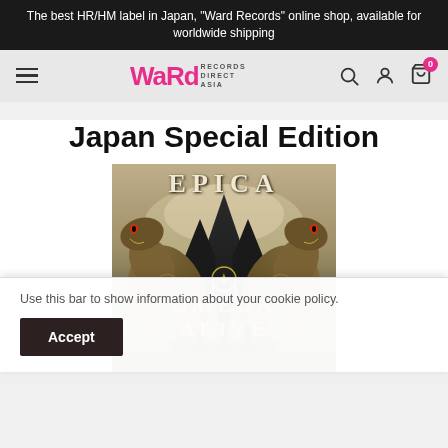The best HR/HM label in Japan, "Ward Records" online shop, available for worldwide shipping
[Figure (logo): Ward Records Direct Asia logo with hamburger menu, search, account, and cart icons]
Japan Special Edition
[Figure (photo): Epica - Omega Alive album cover showing two cobras flanking dark spiky shapes with text EPICA and OMEGA ALIVE]
Use this bar to show information about your cookie policy.
Accept